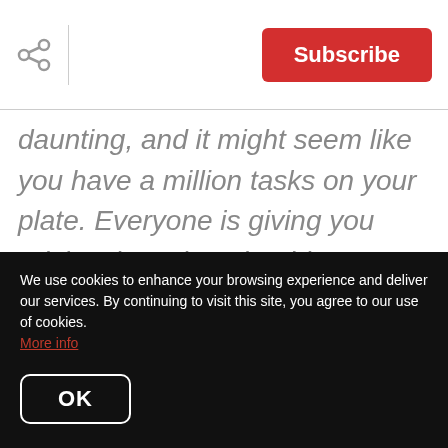Subscribe
daunting, and it might seem like you have a million tasks on your plate. Everyone is giving you advice, but what should you really spend your time worrying about? We asked a recent first-time homebuyer what she wishes she knew before she bought her home. Here are the 5 pieces of advice
We use cookies to enhance your browsing experience and deliver our services. By continuing to visit this site, you agree to our use of cookies. More info
OK